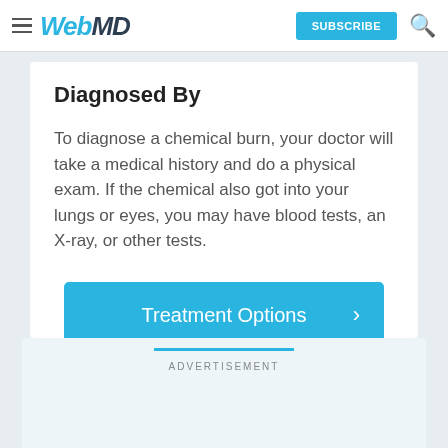WebMD | SUBSCRIBE
Diagnosed By
To diagnose a chemical burn, your doctor will take a medical history and do a physical exam. If the chemical also got into your lungs or eyes, you may have blood tests, an X-ray, or other tests.
[Figure (other): Blue button labeled 'Treatment Options' with a right-pointing chevron arrow]
ADVERTISEMENT